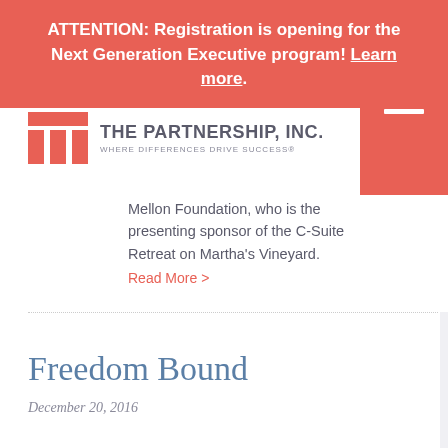ATTENTION: Registration is opening for the Next Generation Executive program! Learn more.
[Figure (logo): The Partnership, Inc. logo with grid icon and tagline 'WHERE DIFFERENCES DRIVE SUCCESS®']
Mellon Foundation, who is the presenting sponsor of the C-Suite Retreat on Martha's Vineyard.
Read More >
Freedom Bound
December 20, 2016